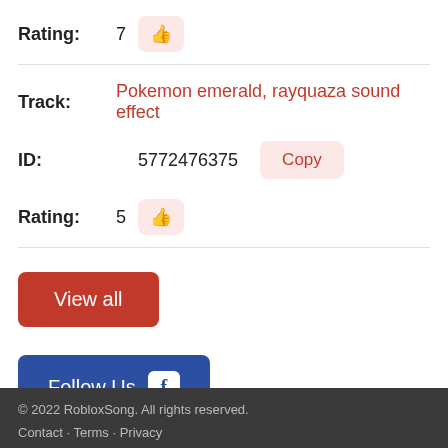Rating: 7 [thumbs up]
Track: Pokemon emerald, rayquaza sound effect
ID: 5772476375 [Copy]
Rating: 5 [thumbs up]
View all
Follow Us [Facebook icon]
© 2022 RobloxSong. All rights reserved.
Contact · Terms · Privacy